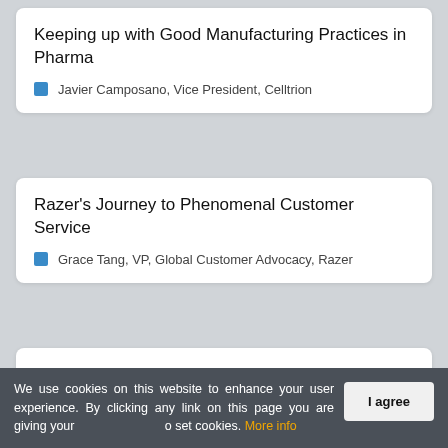Keeping up with Good Manufacturing Practices in Pharma
Javier Camposano, Vice President, Celltrion
Razer's Journey to Phenomenal Customer Service
Grace Tang, VP, Global Customer Advocacy, Razer
The Challenges Of Bringing Phytocannabinoid Plant-Based Medicines To Market
We use cookies on this website to enhance your user experience. By clicking any link on this page you are giving your consent to set cookies. More info